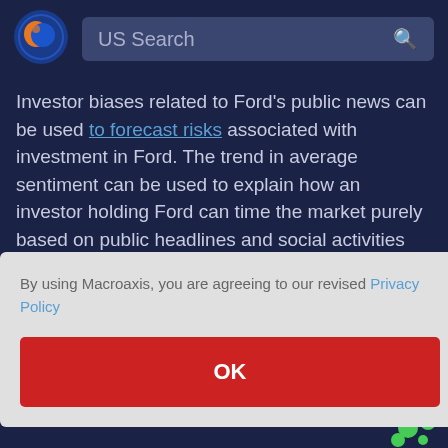[Figure (logo): Macroaxis logo - globe icon with orange and blue colors]
US Search
Investor biases related to Ford's public news can be used to forecast risks associated with investment in Ford. The trend in average sentiment can be used to explain how an investor holding Ford can time the market purely based on public headlines and social activities around Ford Motor. Please note that most equiteis that are difficult to arbitrage
By using Macroaxis, you are agreeing to our revised Privacy Policy
OK